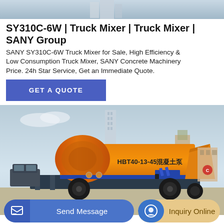[Figure (photo): Top banner image of sky/building background]
SY310C-6W | Truck Mixer | Truck Mixer | SANY Group
SANY SY310C-6W Truck Mixer for Sale, High Efficiency & Low Consumption Truck Mixer, SANY Concrete Machinery Price. 24h Star Service, Get an Immediate Quote.
[Figure (other): GET A QUOTE button in blue]
[Figure (photo): Orange SANY concrete pump truck (HBT40-13-45 model) parked outdoors with buildings in background]
[Figure (other): Bottom bar with Send Message and Inquiry Online buttons]